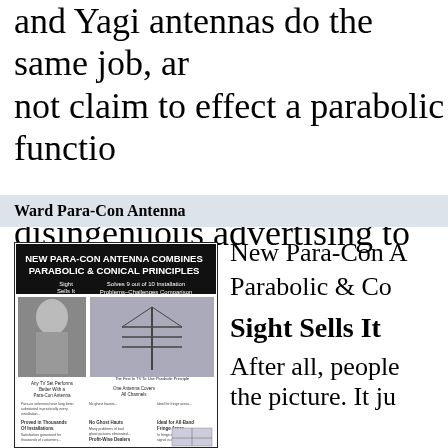and Yagi antennas do the same job, are not claim to effect a parabolic function disingenuous advertising to me.
Ward Para-Con Antenna
[Figure (photo): Vintage newspaper advertisement for Para-Con Antenna showing a woman watching TV, antenna illustration, and advertising copy about parabolic and conical principles.]
New Para-Con A Parabolic & Con Sight Sells It After all, people the picture. It ju